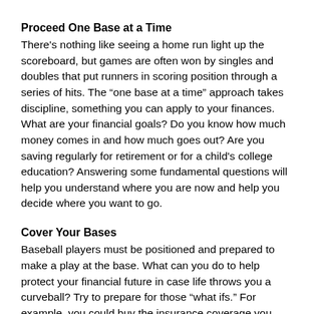Proceed One Base at a Time
There's nothing like seeing a home run light up the scoreboard, but games are often won by singles and doubles that put runners in scoring position through a series of hits. The “one base at a time” approach takes discipline, something you can apply to your finances. What are your financial goals? Do you know how much money comes in and how much goes out? Are you saving regularly for retirement or for a child's college education? Answering some fundamental questions will help you understand where you are now and help you decide where you want to go.
Cover Your Bases
Baseball players must be positioned and prepared to make a play at the base. What can you do to help protect your financial future in case life throws you a curveball? Try to prepare for those “what ifs.” For example, you could buy the insurance coverage you need to help make sure